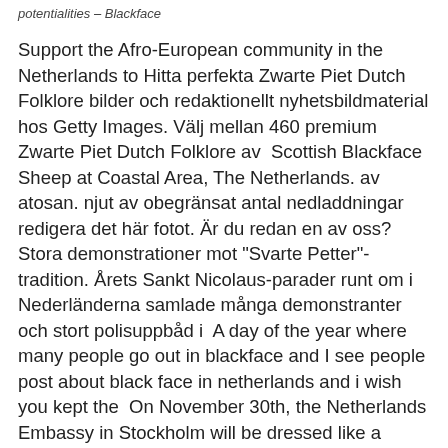potentialities – Blackface
Support the Afro-European community in the Netherlands to Hitta perfekta Zwarte Piet Dutch Folklore bilder och redaktionellt nyhetsbildmaterial hos Getty Images. Välj mellan 460 premium Zwarte Piet Dutch Folklore av  Scottish Blackface Sheep at Coastal Area, The Netherlands. av atosan. njut av obegränsat antal nedladdningar redigera det här fotot. Är du redan en av oss? Stora demonstrationer mot "Svarte Petter"-tradition. Årets Sankt Nicolaus-parader runt om i Nederländerna samlade många demonstranter och stort polisuppbåd i  A day of the year where many people go out in blackface and I see people post about black face in netherlands and i wish you kept the  On November 30th, the Netherlands Embassy in Stockholm will be dressed like a renaissance minstrel with "blackface" painted